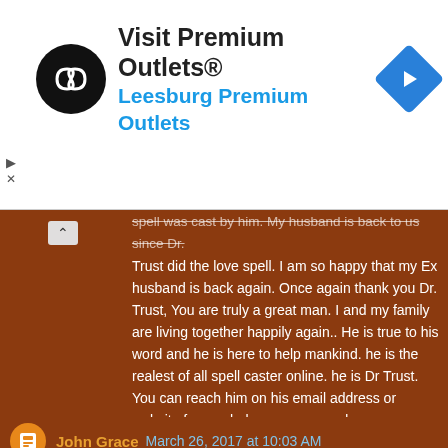[Figure (screenshot): Advertisement banner for 'Visit Premium Outlets® — Leesburg Premium Outlets' with a black circular logo with arrows, and a blue diamond-shaped navigation arrow icon. Small play and X controls on the left side.]
spell was cast by him. My husband is back to us since Dr. Trust did the love spell. I am so happy that my Ex husband is back again. Once again thank you Dr. Trust, You are truly a great man. I and my family are living together happily again.. He is true to his word and he is here to help mankind. he is the realest of all spell caster online. he is Dr Trust. You can reach him on his email address or website for any help you may need.

Ultimatespellcast@gmail.com or Ultimatespellcast@yahoo.com
Web site: https://ultimatespellcast3.wixsite.com/dr-trust
Call him +2348156885231

Reply
John Grace March 26, 2017 at 10:03 AM